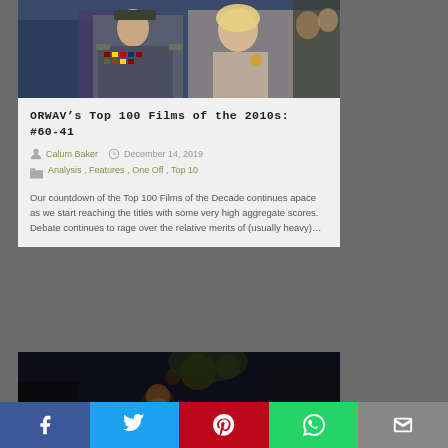[Figure (photo): Movie still showing a man in military uniform with medals and a woman in a beige coat]
ORWAV's Top 100 Films of the 2010s: #60-41
Calum Baker   December 14, 2019
Analysis , Features , One Off , Top 10
Our countdown of the Top 100 Films of the Decade continues apace as we start reaching the titles with some very high aggregate scores. Debate continues to rage over the relative merits of (usually heavy)…
[Figure (photo): Dark movie still showing a person's face partially lit from below]